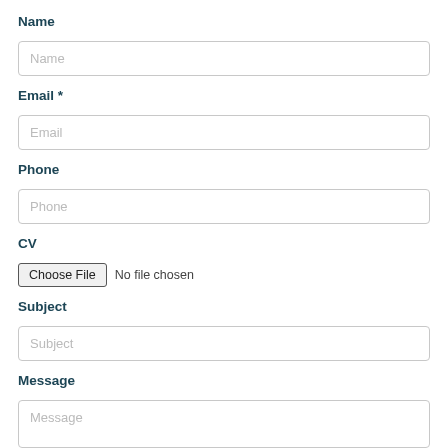Name
Name (placeholder input field)
Email *
Email (placeholder input field)
Phone
Phone (placeholder input field)
CV
Choose File  No file chosen
Subject
Subject (placeholder input field)
Message
Message (placeholder textarea)